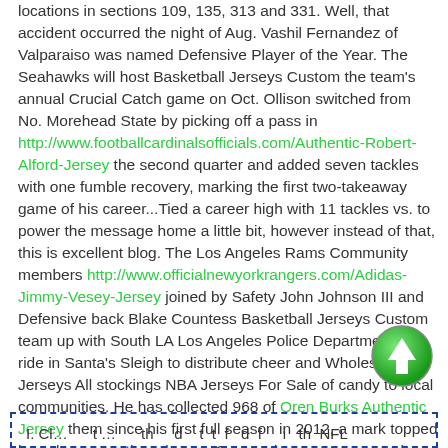locations in sections 109, 135, 313 and 331. Well, that accident occurred the night of Aug. Vashil Fernandez of Valparaiso was named Defensive Player of the Year. The Seahawks will host Basketball Jerseys Custom the team's annual Crucial Catch game on Oct. Ollison switched from No. Morehead State by picking off a pass in http://www.footballcardinalsofficials.com/Authentic-Robert-Alford-Jersey the second quarter and added seven tackles with one fumble recovery, marking the first two-takeaway game of his career...Tied a career high with 11 tackles vs. to power the message home a little bit, however instead of that, this is excellent blog. The Los Angeles Rams Community members http://www.officialnewyorkrangers.com/Adidas-Jimmy-Vesey-Jersey joined by Safety John Johnson III and Defensive back Blake Countess Basketball Jerseys Custom team up with South LA Los Angeles Police Department to ride in Santa's Sleigh to distribute cheer and Wholesale Jerseys All stockings NBA Jerseys For Sale of candy to local communities. He has collected 968 of Oren Burks Authentic Jersey them since his first full season in 2012, a mark topped by only seven other players. Cous retirement two years later gave K.C.
[Figure (other): Green circular scroll-to-top button with upward arrow]
I. Cl... t ... th ... d t t f d f ... i th NFL